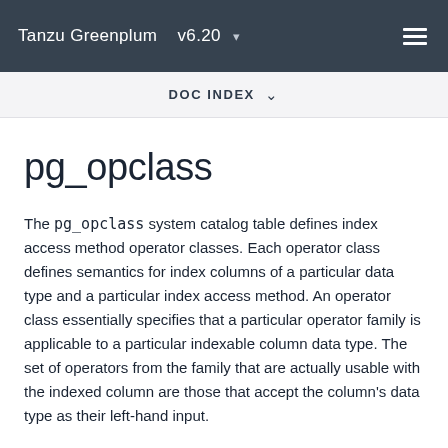Tanzu Greenplum v6.20
DOC INDEX
pg_opclass
The pg_opclass system catalog table defines index access method operator classes. Each operator class defines semantics for index columns of a particular data type and a particular index access method. An operator class essentially specifies that a particular operator family is applicable to a particular indexable column data type. The set of operators from the family that are actually usable with the indexed column are those that accept the column's data type as their left-hand input.